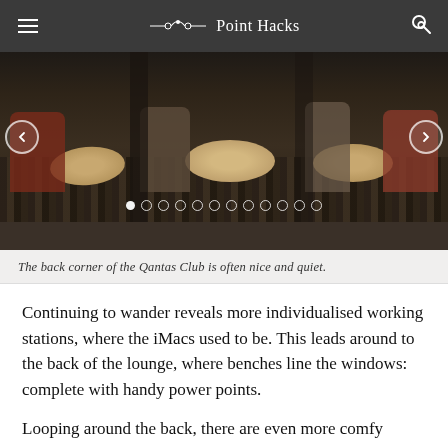Point Hacks
[Figure (photo): Interior of the Qantas Club lounge showing round tables, lounge chairs, and striped carpet in the back corner area. Navigation arrows and dot indicators for an image slideshow are visible.]
The back corner of the Qantas Club is often nice and quiet.
Continuing to wander reveals more individualised working stations, where the iMacs used to be. This leads around to the back of the lounge, where benches line the windows: complete with handy power points.
Looping around the back, there are even more comfy chairs for solos, pairs and groups. In the next space, long benches sit opposite the bar with warm lighting overhead – another great workspace. And finally, we're back near reception, where there's a collection of